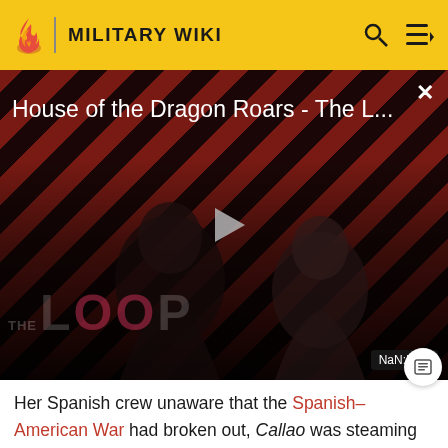MILITARY WIKI
[Figure (screenshot): Video thumbnail for 'House of the Dragon Roars - The L...' with diagonal red/dark stripe pattern background, two person silhouettes, play button in center, THE LOOP branding at bottom, NaN:NaN duration badge]
House of the Dragon Roars - The L...
Her Spanish crew unaware that the Spanish-American War had broken out, Callao was steaming toward port in Manila Bay on 12 May 1898 when she was taken completely by surprise by the presence and hostile actions of the U.S. Navy's Asiatic Squadron under